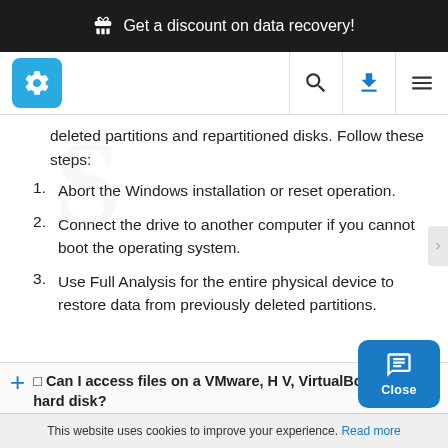🎁 Get a discount on data recovery!
[Figure (screenshot): App navigation bar with logo, search, download, and menu icons]
deleted partitions and repartitioned disks. Follow these steps:
1. Abort the Windows installation or reset operation.
2. Connect the drive to another computer if you cannot boot the operating system.
3. Use Full Analysis for the entire physical device to restore data from previously deleted partitions.
⊞ Can I access files on a VMware, H V, VirtualBox virtual hard disk?
This website uses cookies to improve your experience. Read more